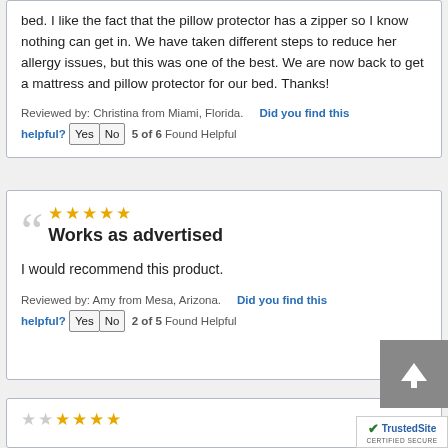bed. I like the fact that the pillow protector has a zipper so I know nothing can get in. We have taken different steps to reduce her allergy issues, but this was one of the best. We are now back to get a mattress and pillow protector for our bed. Thanks!
Reviewed by: Christina from Miami, Florida.    Did you find this helpful? Yes No 5 of 6 Found Helpful
★★★★★ Works as advertised
I would recommend this product.
Reviewed by: Amy from Mesa, Arizona.    Did you find this helpful? Yes No 2 of 5 Found Helpful
TrustedSite CERTIFIED SECURE